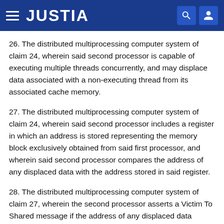JUSTIA
26. The distributed multiprocessing computer system of claim 24, wherein said second processor is capable of executing multiple threads concurrently, and may displace data associated with a non-executing thread from its associated cache memory.
27. The distributed multiprocessing computer system of claim 24, wherein said second processor includes a register in which an address is stored representing the memory block exclusively obtained from said first processor, and wherein said second processor compares the address of any displaced data with the address stored in said register.
28. The distributed multiprocessing computer system of claim 27, wherein the second processor asserts a Victim To Shared message if the address of any displaced data